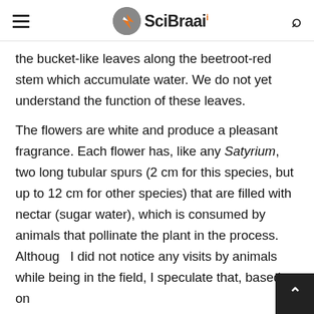SciBraai
the bucket-like leaves along the beetroot-red stem which accumulate water. We do not yet understand the function of these leaves.
The flowers are white and produce a pleasant fragrance. Each flower has, like any Satyrium, two long tubular spurs (2 cm for this species, but up to 12 cm for other species) that are filled with nectar (sugar water), which is consumed by animals that pollinate the plant in the process. Although I did not notice any visits by animals while being in the field, I speculate that, based on